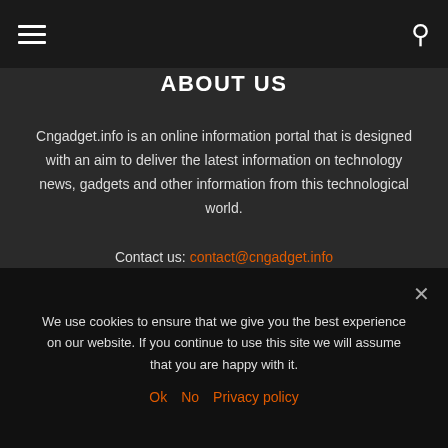Navigation bar with hamburger menu and search icon
ABOUT US
Cngadget.info is an online information portal that is designed with an aim to deliver the latest information on technology news, gadgets and other information from this technological world.
Contact us: contact@cngadget.info
We use cookies to ensure that we give you the best experience on our website. If you continue to use this site we will assume that you are happy with it.
Ok  No  Privacy policy